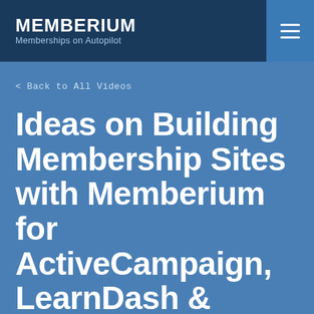MEMBERIUM
Memberships on Autopilot
< Back to All Videos
Ideas on Building Membership Sites with Memberium for ActiveCampaign, LearnDash &